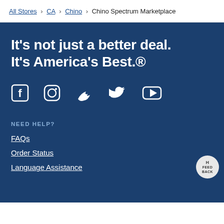All Stores > CA > Chino > Chino Spectrum Marketplace
It's not just a better deal. It's America's Best.®
[Figure (illustration): Social media icons: Facebook, Instagram, Twitter, YouTube]
NEED HELP?
FAQs
Order Status
Language Assistance